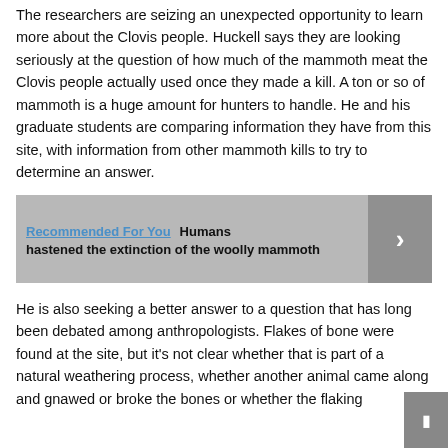The researchers are seizing an unexpected opportunity to learn more about the Clovis people. Huckell says they are looking seriously at the question of how much of the mammoth meat the Clovis people actually used once they made a kill. A ton or so of mammoth is a huge amount for hunters to handle. He and his graduate students are comparing information they have from this site, with information from other mammoth kills to try to determine an answer.
[Figure (other): Recommended For You banner with link: Humans hastened the extinction of the woolly mammoth, with a right-arrow navigation button]
He is also seeking a better answer to a question that has long been debated among anthropologists. Flakes of bone were found at the site, but it's not clear whether that is part of a natural weathering process, whether another animal came along and gnawed or broke the bones or whether the flaking